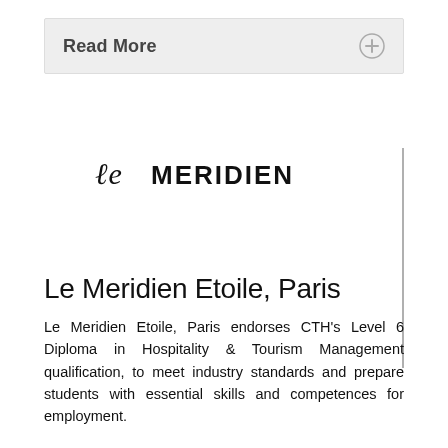Read More
[Figure (logo): Le Meridien hotel brand logo with stylized script 'Le' and bold 'MERIDIEN' text]
Le Meridien Etoile, Paris
Le Meridien Etoile, Paris endorses CTH's Level 6 Diploma in Hospitality & Tourism Management qualification, to meet industry standards and prepare students with essential skills and competences for employment.